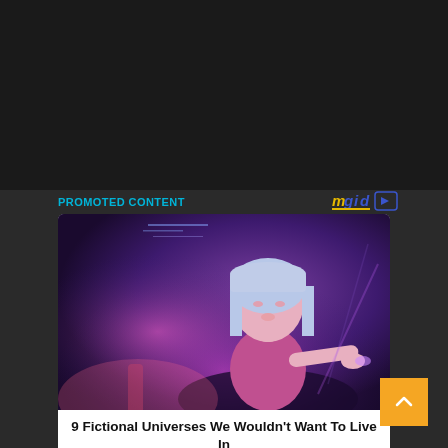PROMOTED CONTENT
[Figure (logo): mgid logo with play button icon]
[Figure (photo): A digital art / CG image of a young woman with silver bob haircut in purple/blue lighting, pointing with one hand, sci-fi aesthetic]
9 Fictional Universes We Wouldn't Want To Live In